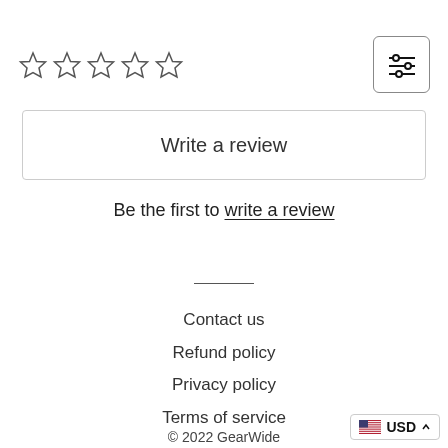[Figure (other): Five empty star rating icons and a filter/settings button icon]
Write a review
Be the first to write a review
Contact us
Refund policy
Privacy policy
Terms of service
[Figure (other): US flag icon with USD and upward chevron currency selector]
© 2022 GearWide